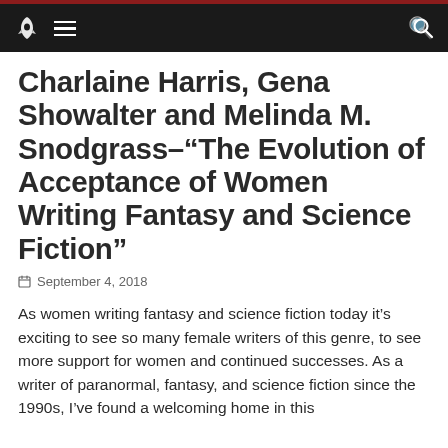Navigation bar with rocket logo, hamburger menu, and search icon
Charlaine Harris, Gena Showalter and Melinda M. Snodgrass–“The Evolution of Acceptance of Women Writing Fantasy and Science Fiction”
September 4, 2018
As women writing fantasy and science fiction today it’s exciting to see so many female writers of this genre, to see more support for women and continued successes. As a writer of paranormal, fantasy, and science fiction since the 1990s, I’ve found a welcoming home in this